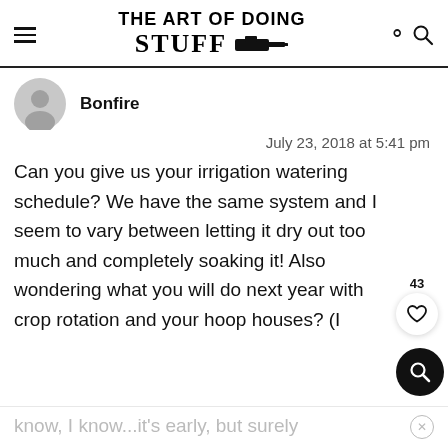THE ART OF DOING STUFF
Bonfire
July 23, 2018 at 5:41 pm
Can you give us your irrigation watering schedule? We have the same system and I seem to vary between letting it dry out too much and completely soaking it! Also wondering what you will do next year with crop rotation and your hoop houses? (I
know, I know...it's early, but surely